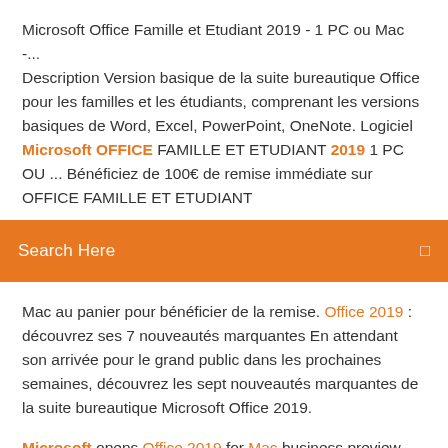Microsoft Office Famille et Etudiant 2019 - 1 PC ou Mac -... Description Version basique de la suite bureautique Office pour les familles et les étudiants, comprenant les versions basiques de Word, Excel, PowerPoint, OneNote. Logiciel Microsoft OFFICE FAMILLE ET ETUDIANT 2019 1 PC OU ... Bénéficiez de 100€ de remise immédiate sur OFFICE FAMILLE ET ETUDIANT
Search Here
Mac au panier pour bénéficier de la remise. Office 2019 : découvrez ses 7 nouveautés marquantes En attendant son arrivée pour le grand public dans les prochaines semaines, découvrez les sept nouveautés marquantes de la suite bureautique Microsoft Office 2019.
Microsoft opens Office 2019 for Mac business preview Microsoft is releasing Office 2019 for Windows and Mac later this year. In the meantime, if you'd like to join the Mac preview (on the Windows preview that started in April…